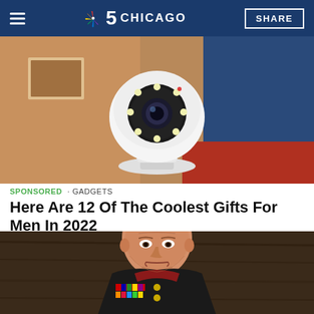NBC 5 CHICAGO | SHARE
[Figure (photo): White pan-tilt smart home security camera with LED ring and lens, placed on a surface in a living room setting with warm orange and blue background.]
SPONSORED · GADGETS
Here Are 12 Of The Coolest Gifts For Men In 2022
[Figure (photo): Portrait of an older man in a US Marine Corps dress uniform with medals and ribbons, with a serious expression, in front of a dark wooden background.]